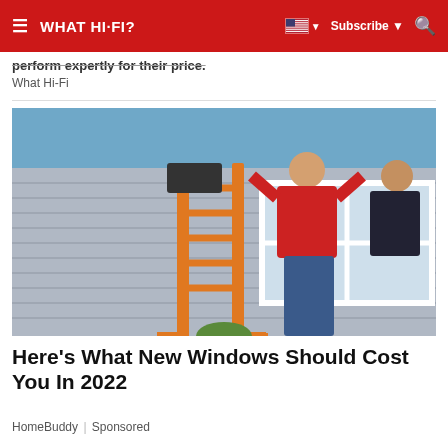≡  WHAT HI-FI?  🇺🇸 ▼  Subscribe ▼  🔍
perform expertly for their price.
What Hi-Fi
[Figure (photo): Workers installing a large window on the exterior of a house. One person in a red shirt and jeans is reaching up to hold the window frame while standing on a ladder. Another person in dark clothing assists from the right. An orange step ladder is visible in the foreground.]
Here's What New Windows Should Cost You In 2022
HomeBuddy | Sponsored